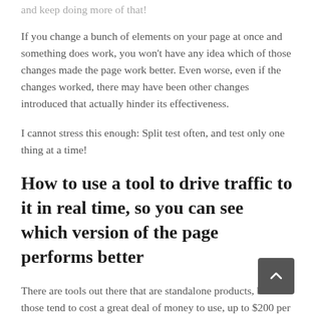and keep doing more of that!
If you change a bunch of elements on your page at once and something does work, you won't have any idea which of those changes made the page work better. Even worse, even if the changes worked, there may have been other changes introduced that actually hinder its effectiveness.
I cannot stress this enough: Split test often, and test only one thing at a time!
How to use a tool to drive traffic to it in real time, so you can see which version of the page performs better
There are tools out there that are standalone products, but those tend to cost a great deal of money to use, up to $200 per month and more.
However, there are some sales funnel builders